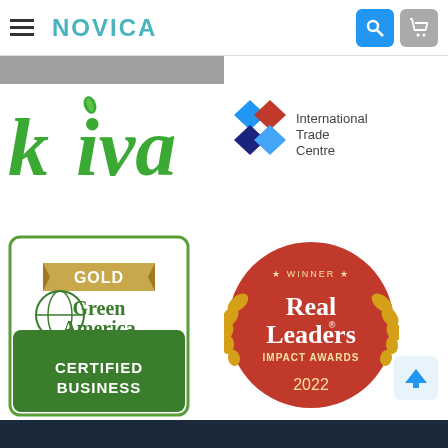NOVICA — hamburger menu, search, cart icons
[Figure (logo): Kiva logo — green stylized text 'kiva' with leaf accent]
[Figure (logo): International Trade Centre logo — geometric diamond/cross pattern in blue, red, navy with text 'International Trade Centre']
[Figure (logo): Green America Gold Certified Business badge — green and gold badge with globe icon]
[Figure (logo): Real Leaders Impact Awards 2022 Winner circular red badge with laurel wreath]